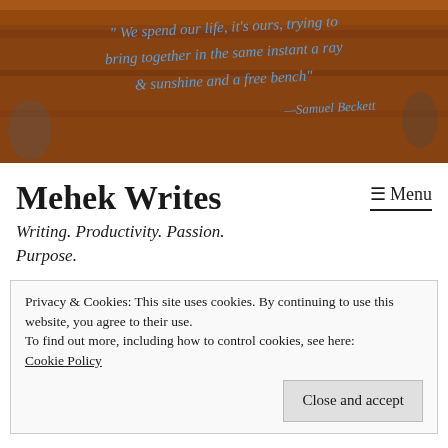[Figure (photo): Wooden bench with hand-painted blue text quote: "We spend our life, it's ours, trying to bring together in the same instant a ray of sunshine and a free bench" — Samuel Beckett]
Mehek Writes
≡ Menu
Writing. Productivity. Passion. Purpose.
Privacy & Cookies: This site uses cookies. By continuing to use this website, you agree to their use.
To find out more, including how to control cookies, see here:
Cookie Policy
Close and accept
Waiting for the Movie